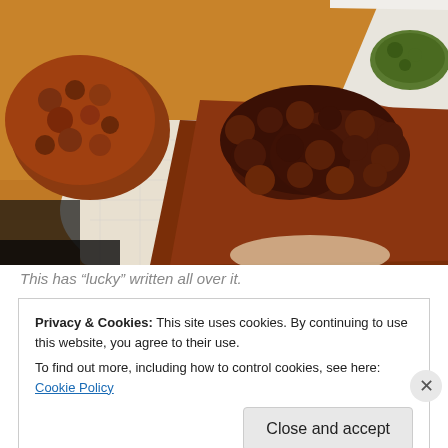[Figure (photo): Close-up photo of fried chicken pieces on paper towels on a wooden surface, with a white square dish containing a green side dish in the upper right corner.]
This has “lucky” written all over it.
Privacy & Cookies: This site uses cookies. By continuing to use this website, you agree to their use.
To find out more, including how to control cookies, see here: Cookie Policy
Close and accept